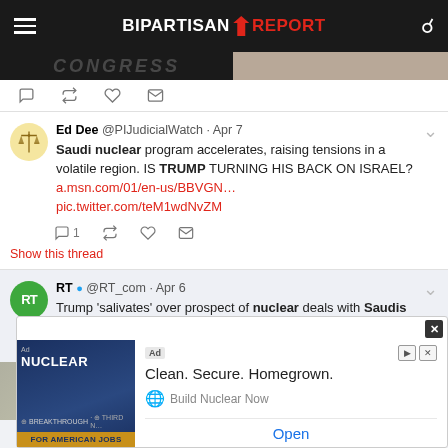BIPARTISAN REPORT
[Figure (screenshot): Partial banner image showing obscured text and a person's shoulder/head]
[Figure (screenshot): Twitter tweet by Ed Dee @PIJudicialWatch Apr 7 - Saudi nuclear program accelerates, raising tensions in a volatile region. IS TRUMP TURNING HIS BACK ON ISRAEL? a.msn.com/01/en-us/BBVGN... pic.twitter.com/teM1wdNvZM - with Show this thread link]
[Figure (screenshot): Twitter tweet by RT @RT_com Apr 6 - Trump 'salivates' over prospect of nuclear deals with Saudis despite proliferation concerns – expert. READ MORE: on.rt.com/9rm9 - with thumbnail image of nuclear facility]
[Figure (screenshot): Ad overlay: Clean. Secure. Homegrown. Build Nuclear Now - Open button - Nuclear for American Jobs ad]